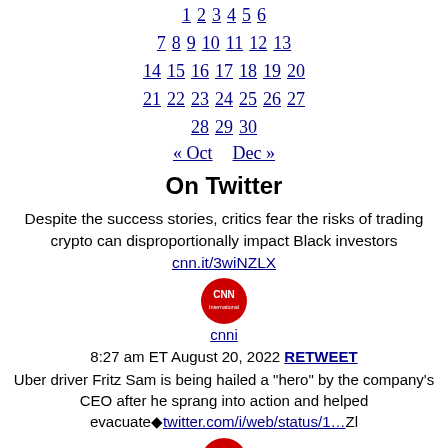1 2 3 4 5 6 7 8 9 10 11 12 13 14 15 16 17 18 19 20 21 22 23 24 25 26 27 28 29 30
« Oct   Dec »
On Twitter
Despite the success stories, critics fear the risks of trading crypto can disproportionally impact Black investors cnn.it/3wiNZLX
[Figure (logo): CNN International red circular logo]
cnni
8:27 am ET August 20, 2022 RETWEET
Uber driver Fritz Sam is being hailed a "hero" by the company's CEO after he sprang into action and helped evacuate◆twitter.com/i/web/status/1…Zl
[Figure (logo): CNN International red circular logo]
cnni
8:07 am ET August 20, 2022 RETWEET
These women say they were already exhausted. Then 2022 made things worse. cnn.it/3QYXQi8
[Figure (logo): CNN International red circular logo (partially visible)]